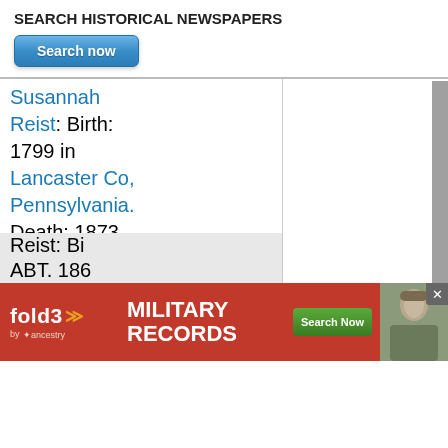SEARCH HISTORICAL NEWSPAPERS
Search now
Susannah Reist: Birth: 1799 in Lancaster Co, Pennsylvania. Death: 1873
Susannah Reist: Birth: 1843. Death: 1930
Veronica Reist: Birth: ABT. 1873.
Veronica Reist: Birth: ABT. 186...
[Figure (screenshot): fold3 Military Records advertisement banner with red background, fold3 logo, 'MILITARY RECORDS' text, 'Search Now' button, and a soldier photo]